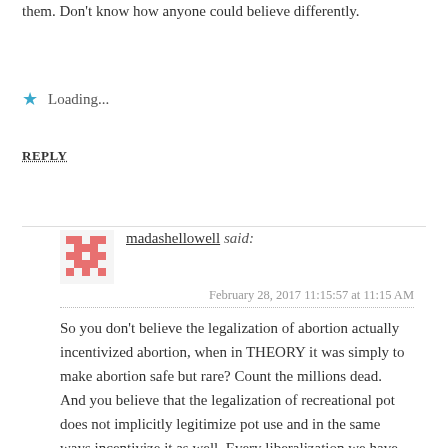them. Don't know how anyone could believe differently.
★ Loading...
REPLY
madashellowell said:
February 28, 2017 11:15:57 at 11:15 AM
So you don't believe the legalization of abortion actually incentivized abortion, when in THEORY it was simply to make abortion safe but rare? Count the millions dead.
And you believe that the legalization of recreational pot does not implicitly legitimize pot use and in the same ways incentivize it as well. Every liberalization we have seen has not just relieved punishment for it but also created far wider response than was ever anticipated. We saw the liberalization of gay relationships, at first only claiming the desire for legal equality in contracts